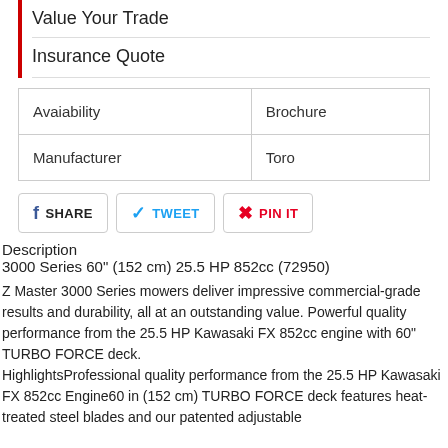Value Your Trade
Insurance Quote
| Avaiability | Brochure |
| Manufacturer | Toro |
SHARE  TWEET  PIN IT
Description
3000 Series 60" (152 cm) 25.5 HP 852cc (72950)
Z Master 3000 Series mowers deliver impressive commercial-grade results and durability, all at an outstanding value. Powerful quality performance from the 25.5 HP Kawasaki FX 852cc engine with 60" TURBO FORCE deck.
HighlightsProfessional quality performance from the 25.5 HP Kawasaki FX 852cc Engine60 in (152 cm) TURBO FORCE deck features heat-treated steel blades and our patented adjustable